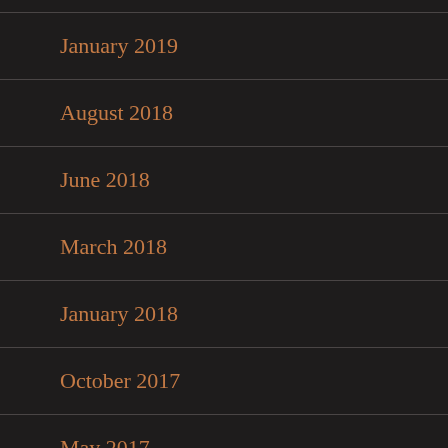January 2019
August 2018
June 2018
March 2018
January 2018
October 2017
May 2017
August 2016